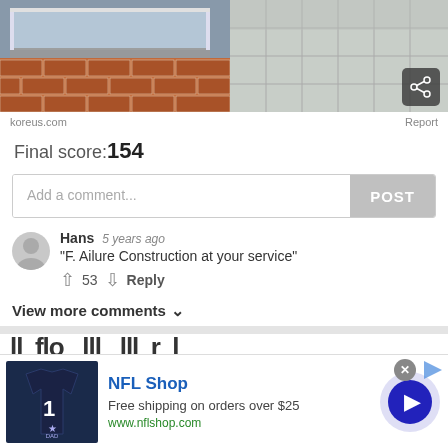[Figure (photo): Screenshot of a webpage showing two images at top: left image shows a brick wall with a window/ledge, right image shows floor tiles. A share button is visible in the top right corner.]
koreus.com
Report
Final score:154
Add a comment...
POST
Hans  5 years ago
"F. Ailure Construction at your service"
↑ 53 ↓  Reply
View more comments ∨
[Figure (screenshot): Partially visible next article preview text]
[Figure (infographic): NFL Shop advertisement banner with a Cowboys jersey image, NFL Shop title, 'Free shipping on orders over $25', www.nflshop.com URL, a close button, and a play/next button.]